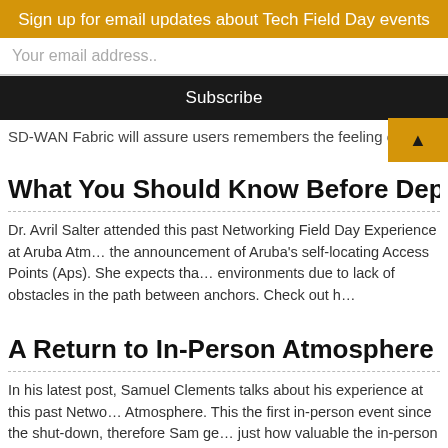Sign up for email updates about Tech Field Day events
Your email address..
Subscribe
SD-WAN Fabric will assure users remembers the feeling of making a connection
What You Should Know Before Deploying Aruba's Self-Locating APs
Dr. Avril Salter attended this past Networking Field Day Experience at Aruba Atmosphere and witnessed the announcement of Aruba's self-locating Access Points (Aps). She expects that they'll work best in open environments due to lack of obstacles in the path between anchors. Check out her thoughts here!
A Return to In-Person Atmosphere and the First Ever
In his latest post, Samuel Clements talks about his experience at this past Networking Field Day at Aruba Atmosphere. This the first in-person event since the shut-down, therefore Sam got to experience what makes it just how valuable the in-person experience is. Check out his thoughts now!